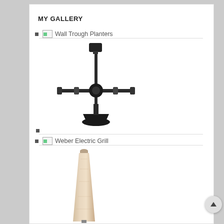MY GALLERY
Wall Trough Planters
[Figure (photo): Multi-monitor desk stand with four arms extending from a central pole mounted on a flat base]
Weber Electric Grill
[Figure (photo): Wooden tapered furniture leg / post]